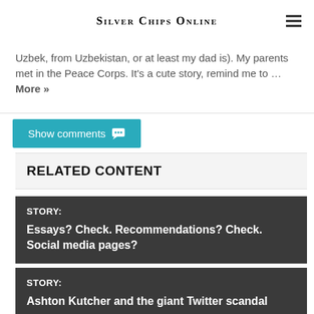Silver Chips Online
Uzbek, from Uzbekistan, or at least my dad is). My parents met in the Peace Corps. It's a cute story, remind me to … More »
Show comments
RELATED CONTENT
STORY:
Essays? Check. Recommendations? Check. Social media pages?
STORY:
Ashton Kutcher and the giant Twitter scandal